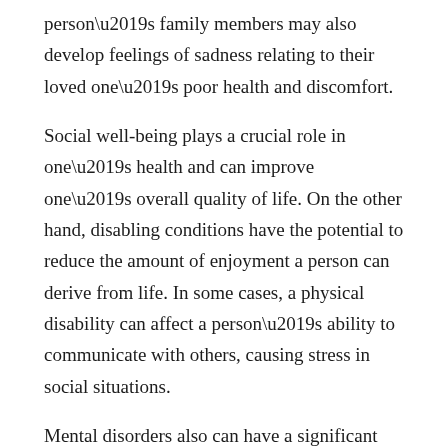person's family members may also develop feelings of sadness relating to their loved one's poor health and discomfort.
Social well-being plays a crucial role in one's health and can improve one's overall quality of life. On the other hand, disabling conditions have the potential to reduce the amount of enjoyment a person can derive from life. In some cases, a physical disability can affect a person's ability to communicate with others, causing stress in social situations.
Mental disorders also can have a significant impact on an individual's life and well-being. These conditions can have serious consequences, and individuals diagnosed with any type of disabling condition should seek proper treatment to reduce the impact of its symptoms. Older adults who try to